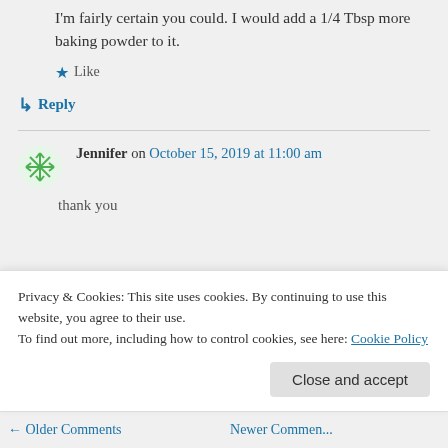I'm fairly certain you could. I would add a 1/4 Tbsp more baking powder to it.
★ Like
↳ Reply
Jennifer on October 15, 2019 at 11:00 am
thank you
Privacy & Cookies: This site uses cookies. By continuing to use this website, you agree to their use.
To find out more, including how to control cookies, see here: Cookie Policy
Close and accept